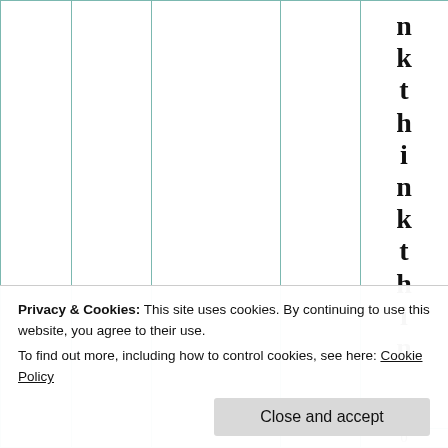|  |  |  |  | n |
|  |  |  |  | k |
|  |  |  |  | t |
|  |  |  |  | h |
|  |  |  |  | i |
|  |  |  |  | n |
|  |  |  |  | k |
|  |  |  |  | t |
|  |  |  |  | h |
|  |  |  |  | i |
|  |  |  |  | n |
|  |  |  |  | 0 |
Privacy & Cookies: This site uses cookies. By continuing to use this website, you agree to their use. To find out more, including how to control cookies, see here: Cookie Policy
Close and accept